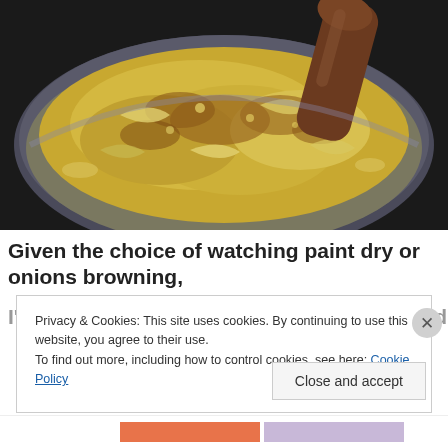[Figure (photo): Close-up photo of caramelized onions being stirred in a stainless steel pan with a wooden spoon. The onions are golden-yellow with brown edges, glistening with butter or oil.]
Given the choice of watching paint dry or onions browning,
Privacy & Cookies: This site uses cookies. By continuing to use this website, you agree to their use.
To find out more, including how to control cookies, see here: Cookie Policy
Close and accept